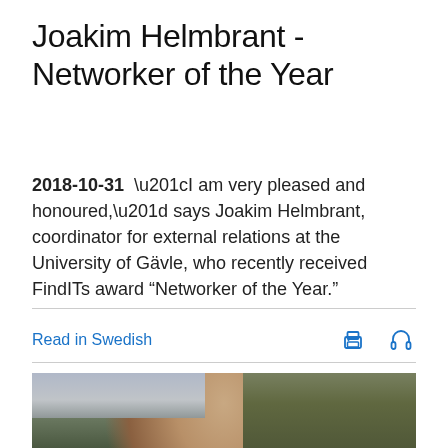Joakim Helmbrant - Networker of the Year
2018-10-31  “I am very pleased and honoured,” says Joakim Helmbrant, coordinator for external relations at the University of Gävle, who recently received FindITs award “Networker of the Year.”
Read in Swedish
[Figure (photo): Portrait photo of Joakim Helmbrant outdoors, with buildings and foliage in the background]